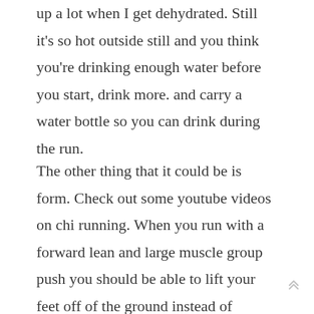up a lot when I get dehydrated. Still it's so hot outside still and you think you're drinking enough water before you start, drink more. and carry a water bottle so you can drink during the run.
The other thing that it could be is form. Check out some youtube videos on chi running. When you run with a forward lean and large muscle group push you should be able to lift your feet off of the ground instead of pushing off, thereby not engaging your calfs as much. Once you get used to the form or want to speed up you can start pushing off of the ground again with the foot (engaging the